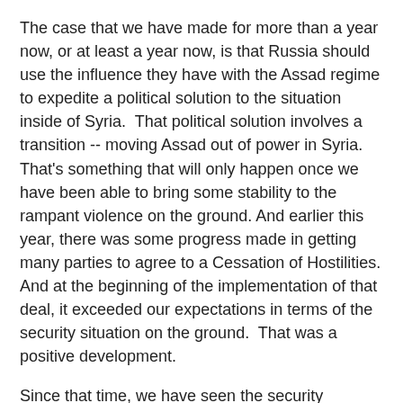The case that we have made for more than a year now, or at least a year now, is that Russia should use the influence they have with the Assad regime to expedite a political solution to the situation inside of Syria.  That political solution involves a transition -- moving Assad out of power in Syria.  That's something that will only happen once we have been able to bring some stability to the rampant violence on the ground.  And earlier this year, there was some progress made in getting many parties to agree to a Cessation of Hostilities.  And at the beginning of the implementation of that deal, it exceeded our expectations in terms of the security situation on the ground.  That was a positive development.
Since that time, we have seen the security situation and stability erode.  And that has dealt a setback to efforts to reach a political agreement.
As it relates to our military coordination, we've always made clear that we would welcome a contribution -- a military contribution from Russia -- to the efforts focused on ISIS...